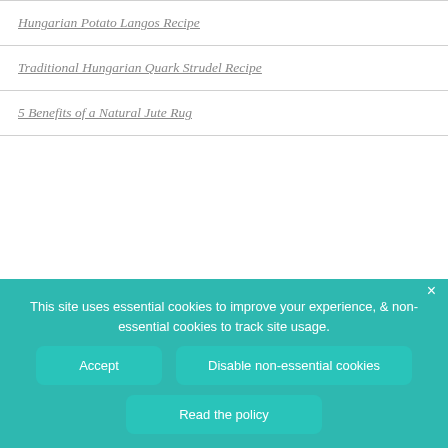Hungarian Potato Langos Recipe
Traditional Hungarian Quark Strudel Recipe
5 Benefits of a Natural Jute Rug
PLANTABLE BIRTHDAY CARD
[Figure (illustration): Hamburger menu icon with three colored bars (olive green, salmon/orange, light gray) and a partial view of a beige card with dark spine]
This site uses essential cookies to improve your experience, & non-essential cookies to track site usage.
Accept
Disable non-essential cookies
Read the policy